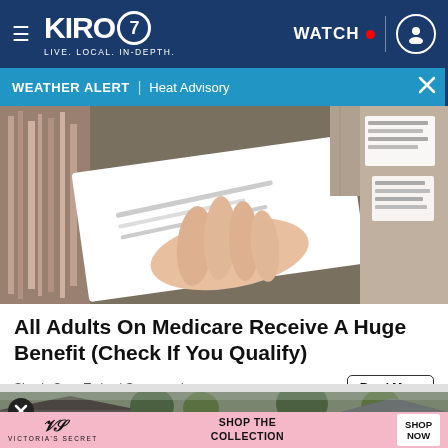KIRO 7 — LIVE. LOCAL. IN-DEPTH. | WATCH | User icon
WEATHER ALERT | Heat Advisory
[Figure (photo): A person's hand holding a document or card, with papers spread out on a surface.]
All Adults On Medicare Receive A Huge Benefit (Check If You Qualify)
Simply Save Today | Sponsored
[Figure (photo): Advertisement banner: Victoria's Secret — Shop The Collection. Shop Now button. Background shows trees and a house.]